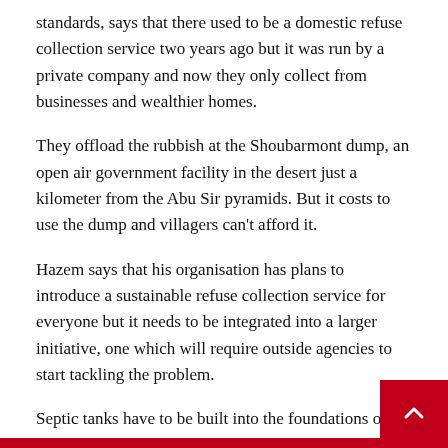standards, says that there used to be a domestic refuse collection service two years ago but it was run by a private company and now they only collect from businesses and wealthier homes.
They offload the rubbish at the Shoubarmont dump, an open air government facility in the desert just a kilometer from the Abu Sir pyramids. But it costs to use the dump and villagers can't afford it.
Hazem says that his organisation has plans to introduce a sustainable refuse collection service for everyone but it needs to be integrated into a larger initiative, one which will require outside agencies to start tackling the problem.
Septic tanks have to be built into the foundations of the hous… Those without tanks have to discharge their waste straight into the canals. The sewage is collected from the septic tanks every